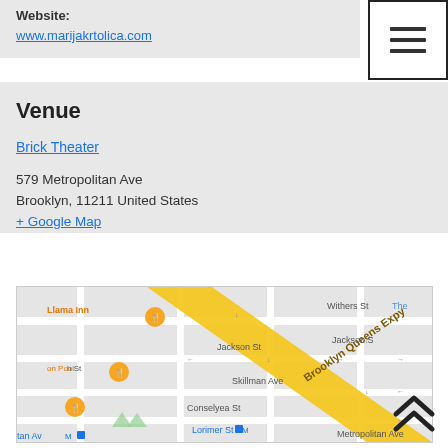Website:
www.marijakrtolica.com
[Figure (screenshot): Hamburger menu icon (three horizontal lines) in a white box with black border]
Venue
Brick Theater
579 Metropolitan Ave
Brooklyn, 11211 United States
+ Google Map
[Figure (map): Google Map showing the area around 579 Metropolitan Ave, Brooklyn. Landmarks visible: Llama Inn, Brooklyn Queens Expy, Withers St, Jackson St, Skillman Ave, Conselyea St, Lorimer St Metro station, Metropolitan Ave.]
[Figure (other): Double up-arrow scroll-to-top button in bottom right corner]